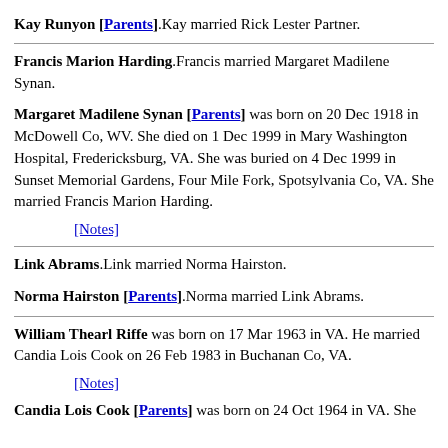Kay Runyon [Parents].Kay married Rick Lester Partner.
Francis Marion Harding.Francis married Margaret Madilene Synan.
Margaret Madilene Synan [Parents] was born on 20 Dec 1918 in McDowell Co, WV. She died on 1 Dec 1999 in Mary Washington Hospital, Fredericksburg, VA. She was buried on 4 Dec 1999 in Sunset Memorial Gardens, Four Mile Fork, Spotsylvania Co, VA. She married Francis Marion Harding.
[Notes]
Link Abrams.Link married Norma Hairston.
Norma Hairston [Parents].Norma married Link Abrams.
William Thearl Riffe was born on 17 Mar 1963 in VA. He married Candia Lois Cook on 26 Feb 1983 in Buchanan Co, VA.
[Notes]
Candia Lois Cook [Parents] was born on 24 Oct 1964 in VA. She